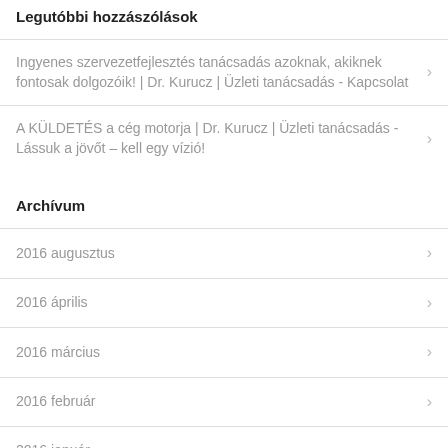Legutóbbi hozzászólások
Ingyenes szervezetfejlesztés tanácsadás azoknak, akiknek fontosak dolgozóik! | Dr. Kurucz | Üzleti tanácsadás - Kapcsolat
A KÜLDETÉS a cég motorja | Dr. Kurucz | Üzleti tanácsadás - Lássuk a jövőt – kell egy vízió!
Archívum
2016 augusztus
2016 április
2016 március
2016 február
2016 január